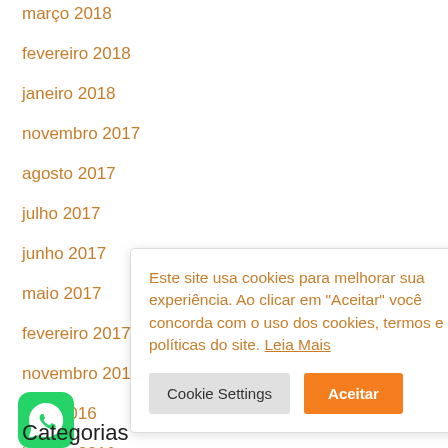março 2018
fevereiro 2018
janeiro 2018
novembro 2017
agosto 2017
julho 2017
junho 2017
maio 2017
fevereiro 2017
novembro 2016
abril 2016
janeiro 2016
outubro 2015
Este site usa cookies para melhorar sua experiência. Ao clicar em "Aceitar" você concorda com o uso dos cookies, termos e políticas do site. Leia Mais
Categorias